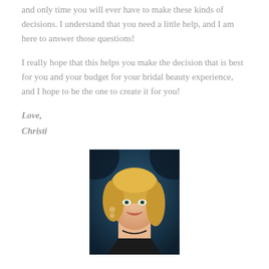and only time you will ever have to make these kinds of decisions. I understand that you need a little help, and I am here to answer those questions!
I really hope that this helps you make the decision that is best for you and your budget for your bridal beauty experience, and I hope to be the one to create it for you!
Love,
Christi
[Figure (photo): Portrait photo of a blonde woman smiling, wearing a black top and gold earrings, with a dark blue background]